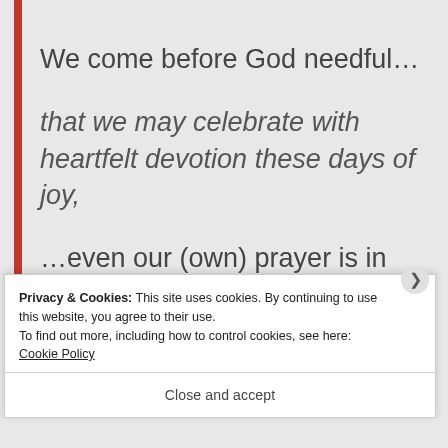We come before God needful…
that we may celebrate with heartfelt devotion these days of joy,
…even our (own) prayer is in some sense the work of God in us. The Catholic instinct, of course, is that we pray the Liturgy by joining with Christ and the Church in heaven, as well as
Privacy & Cookies: This site uses cookies. By continuing to use this website, you agree to their use.
To find out more, including how to control cookies, see here: Cookie Policy

Close and accept